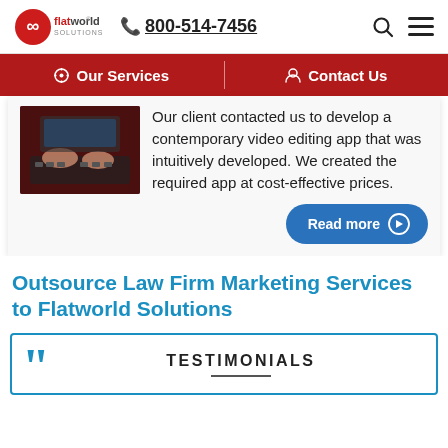flatworld solutions | 800-514-7456
Our Services | Contact Us
[Figure (photo): Person using a computer keyboard, hands visible on dark keyboard with a monitor in background]
Our client contacted us to develop a contemporary video editing app that was intuitively developed. We created the required app at cost-effective prices.
Read more
Outsource Law Firm Marketing Services to Flatworld Solutions
TESTIMONIALS